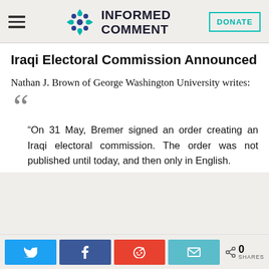INFORMED COMMENT
Iraqi Electoral Commission Announced
Nathan J. Brown of George Washington University writes:
“On 31 May, Bremer signed an order creating an Iraqi electoral commission. The order was not published until today, and then only in English.
0 SHARES